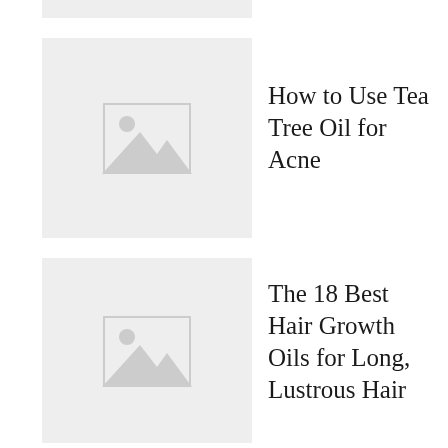[Figure (other): Partial gray placeholder image strip at the top of the page]
[Figure (photo): Gray placeholder image thumbnail with mountain/landscape icon for article about Tea Tree Oil for Acne]
How to Use Tea Tree Oil for Acne
[Figure (photo): Gray placeholder image thumbnail with mountain/landscape icon for article about Hair Growth Oils]
The 18 Best Hair Growth Oils for Long, Lustrous Hair